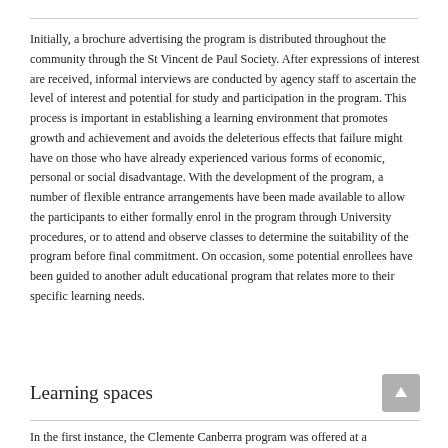Initially, a brochure advertising the program is distributed throughout the community through the St Vincent de Paul Society. After expressions of interest are received, informal interviews are conducted by agency staff to ascertain the level of interest and potential for study and participation in the program. This process is important in establishing a learning environment that promotes growth and achievement and avoids the deleterious effects that failure might have on those who have already experienced various forms of economic, personal or social disadvantage. With the development of the program, a number of flexible entrance arrangements have been made available to allow the participants to either formally enrol in the program through University procedures, or to attend and observe classes to determine the suitability of the program before final commitment. On occasion, some potential enrollees have been guided to another adult educational program that relates more to their specific learning needs.
Learning spaces
In the first instance, the Clemente Canberra program was offered at a community centre for homeless men. The Centre was